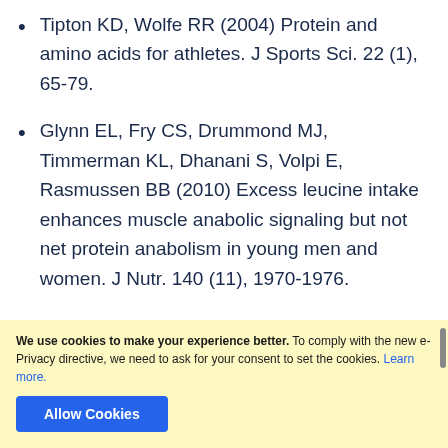Tipton KD, Wolfe RR (2004) Protein and amino acids for athletes. J Sports Sci. 22 (1), 65-79.
Glynn EL, Fry CS, Drummond MJ, Timmerman KL, Dhanani S, Volpi E, Rasmussen BB (2010) Excess leucine intake enhances muscle anabolic signaling but not net protein anabolism in young men and women. J Nutr. 140 (11), 1970-1976.
We use cookies to make your experience better. To comply with the new e-Privacy directive, we need to ask for your consent to set the cookies. Learn more.